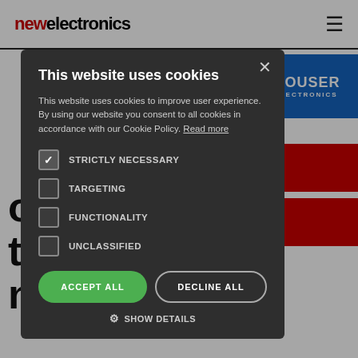newelectronics
[Figure (logo): Mouser Electronics blue banner logo in top right]
This website uses cookies
This website uses cookies to improve user experience. By using our website you consent to all cookies in accordance with our Cookie Policy. Read more
STRICTLY NECESSARY (checked)
TARGETING
FUNCTIONALITY
UNCLASSIFIED
ACCEPT ALL   DECLINE ALL
SHOW DETAILS
ow its technology niches has